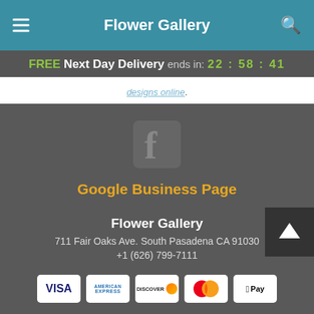Flower Gallery
FREE Next Day Delivery ends in: 22 : 58 : 41
designs online.
[Figure (logo): Facebook logo icon on dark grey square background]
Google Business Page
Flower Gallery
711 Fair Oaks Ave. South Pasadena CA 91030
+1 (626) 799-7111
[Figure (other): Payment method icons: Visa, American Express, Discover, Mastercard, Apple Pay]
Copyrighted images herein are used with permission by Flower